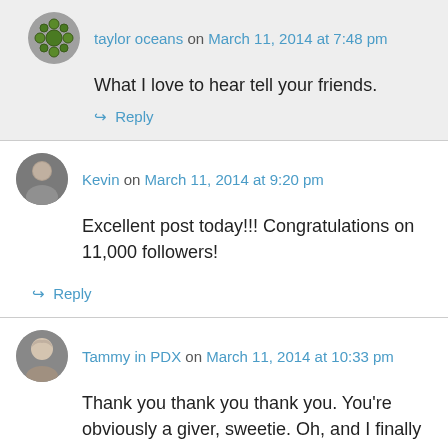taylor oceans on March 11, 2014 at 7:48 pm
What I love to hear tell your friends.
↪ Reply
Kevin on March 11, 2014 at 9:20 pm
Excellent post today!!! Congratulations on 11,000 followers!
↪ Reply
Tammy in PDX on March 11, 2014 at 10:33 pm
Thank you thank you thank you. You're obviously a giver, sweetie. Oh, and I finally did actually